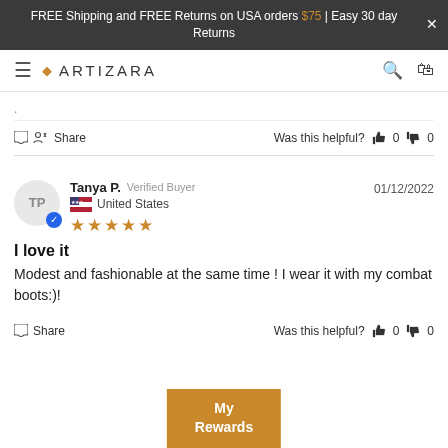FREE Shipping and FREE Returns on USA orders $75 | Easy 30 day Returns
[Figure (logo): Artizara brand logo with navigation bar including hamburger menu, search icon, and shopping bag icon]
Share  Was this helpful? 0 0
Tanya P. Verified Buyer  01/12/2022
United States
★★★★★
I love it
Modest and fashionable at the same time ! I wear it with my combat boots:)!
Share  Was this helpful? 0 0